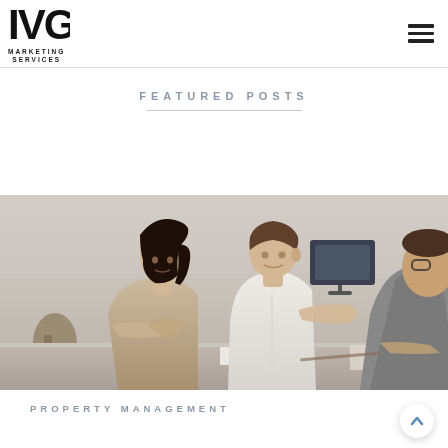IVG Marketing Services logo and navigation
FEATURED POSTS
[Figure (photo): Three people at a meeting table: a woman with arms crossed, a man in a white shirt gesturing, and a person on the right with glasses. A computer monitor is visible in the background.]
PROPERTY MANAGEMENT